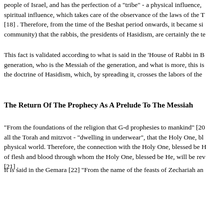people of Israel, and has the perfection of a "tribe" - a physical influence, spiritual influence, which takes care of the observance of the laws of the T [18] . Therefore, from the time of the Beshat period onwards, it became si community) that the rabbis, the presidents of Hasidism, are certainly the te
This fact is validated according to what is said in the 'House of Rabbi in B generation, who is the Messiah of the generation, and what is more, this is the doctrine of Hasidism, which, by spreading it, crosses the labors of the
The Return Of The Prophecy As A Prelude To The Messiah
"From the foundations of the religion that G-d prophesies to mankind" [20 all the Torah and mitzvot - "dwelling in underwear", that the Holy One, bl physical world. Therefore, the connection with the Holy One, blessed be H of flesh and blood through whom the Holy One, blessed be He, will be rev [21] .
It is said in the Gemara [22] "From the name of the feasts of Zechariah an Israel", but the Rambam decrees the conditions for the revelation of the pr that this is a halachic for generations, and concerns the Israelites even dur does not mean that it departed completely, that then The word 'void' or 'pa found as before in that there are not many people who are worthy of the in the sages of the generation, as it is said in the Gemara [23] "From the day was taken from the prophets and given to the sages".
In addition to this, Rambam writes in the 'Egret Yemen' that he has a Kabb century (about 800 years ago) - the prophecy will return to Israel! And th